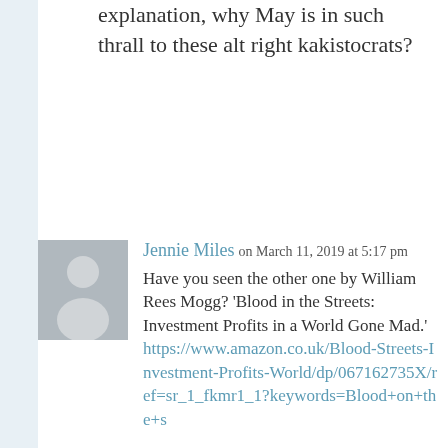explanation, why May is in such thrall to these alt right kakistocrats?
REPLY
Jennie Miles on March 11, 2019 at 5:17 pm
Have you seen the other one by William Rees Mogg? 'Blood in the Streets: Investment Profits in a World Gone Mad.' https://www.amazon.co.uk/Blood-Streets-Investment-Profits-World/dp/067162735X/ref=sr_1_fkmr1_1?keywords=Blood+on+the+s